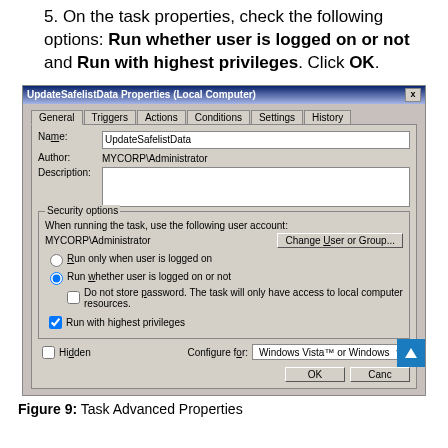5. On the task properties, check the following options: Run whether user is logged on or not and Run with highest privileges. Click OK.
[Figure (screenshot): Windows Task Scheduler dialog: UpdateSafelistData Properties (Local Computer) showing General tab with Name: UpdateSafelistData, Author: MYCORP\Administrator, Security options with Run whether user is logged on or not selected and Run with highest privileges checked. Configure for: Windows Vista or Windows Server 2008.]
Figure 9: Task Advanced Properties